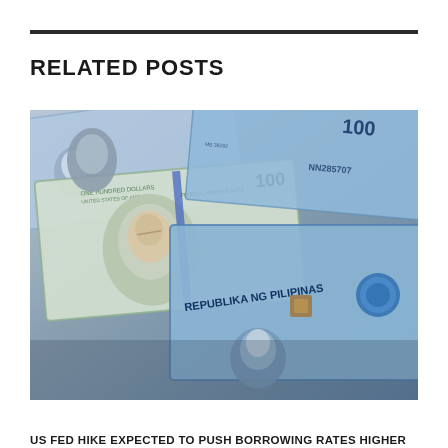RELATED POSTS
[Figure (photo): Philippine peso banknotes and US dollar hundred dollar bills spread out together, showing Benjamin Franklin's portrait on the USD and Filipino figures on the peso notes, with 'REPUBLIKA NG PILIPINAS' text visible on a light blue peso note.]
US FED HIKE EXPECTED TO PUSH BORROWING RATES HIGHER